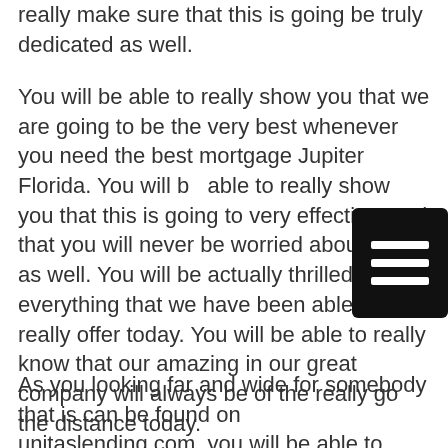really make sure that this is going be truly dedicated as well.
You will be able to really show you that we are going to be the very best whenever you need the best mortgage Jupiter Florida. You will be able to really show you that this is going to very effective, and that you will never be worried about else as well. You will be actually thrilled with everything that we have been able to really offer today. You will be able to really know that our amazing in our great company will always be of the really go the distance today.
As you looking far and wide for somebody that is can be found on unitaslending.com, you will be able to really make sure that this is going to